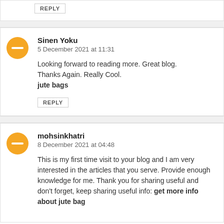REPLY
Sinen Yoku
5 December 2021 at 11:31

Looking forward to reading more. Great blog. Thanks Again. Really Cool.
jute bags

REPLY
mohsinkhatri
8 December 2021 at 04:48

This is my first time visit to your blog and I am very interested in the articles that you serve. Provide enough knowledge for me. Thank you for sharing useful and don't forget, keep sharing useful info: get more info about jute bag